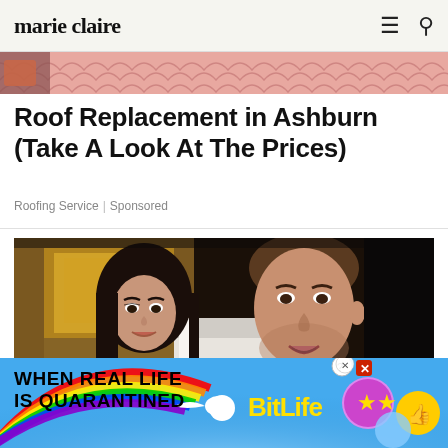marie claire
[Figure (photo): Partial cropped advertisement image strip showing pink/red roof tiles pattern]
Roof Replacement in Ashburn (Take A Look At The Prices)
Roofing Service | Sponsored
[Figure (photo): Photo of a woman and a man (Kate Middleton and Prince William) at a formal event in an ornate gilded room]
[Figure (infographic): BitLife advertisement banner: WHEN REAL LIFE IS QUARANTINED with rainbow and BitLife game logo, emoji icons, close and X buttons]